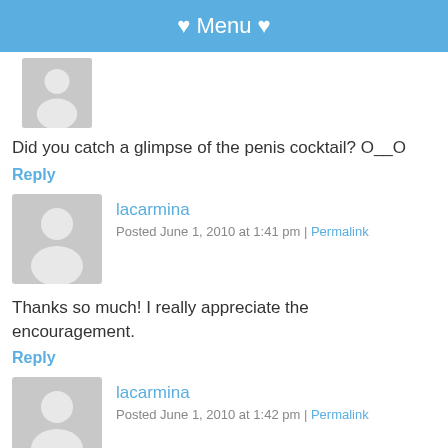♥ Menu ♥
[Figure (illustration): Gray default avatar silhouette (partial, top of page)]
Did you catch a glimpse of the penis cocktail? O__O
Reply
[Figure (illustration): Gray default avatar silhouette for lacarmina]
lacarmina
Posted June 1, 2010 at 1:41 pm | Permalink
Thanks so much! I really appreciate the encouragement.
Reply
[Figure (illustration): Gray default avatar silhouette for lacarmina second comment]
lacarmina
Posted June 1, 2010 at 1:42 pm | Permalink
[Figure (infographic): Social media sharing icons: Facebook, Twitter, Pinterest, LinkedIn]